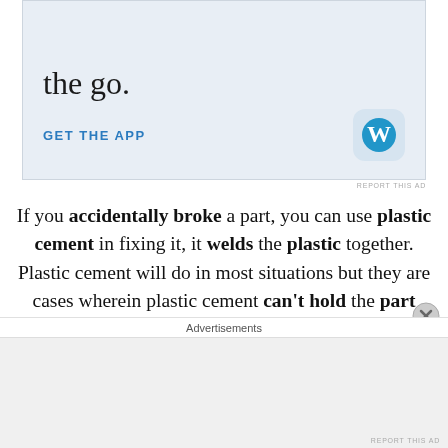[Figure (screenshot): WordPress mobile app advertisement banner with light blue background showing partial text 'the go.' and 'GET THE APP' link with WordPress logo icon]
If you accidentally broke a part, you can use plastic cement in fixing it, it welds the plastic together. Plastic cement will do in most situations but they are cases wherein plastic cement can't hold the part together and I use super glue instead, the problem with super glues in the past is that they leave a nasty white residue, but recently I've discovered the newer ones today don't leave
Advertisements